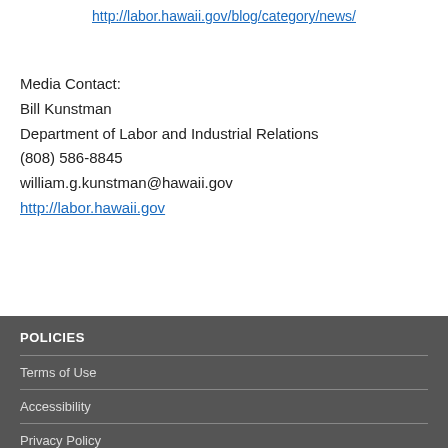http://labor.hawaii.gov/blog/category/news/
Media Contact:
Bill Kunstman
Department of Labor and Industrial Relations
(808) 586-8845
william.g.kunstman@hawaii.gov
http://labor.hawaii.gov
POLICIES
Terms of Use
Accessibility
Privacy Policy